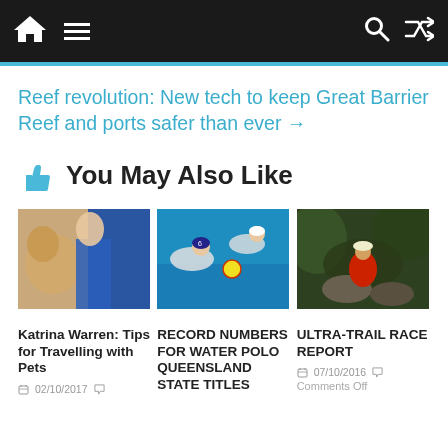Navigation bar with home, menu, search, and shuffle icons
Reef revolution: New tech to keep Great Barrier Reef and ports safer than ever →
👍 You May Also Like
[Figure (photo): Woman with golden retriever dog]
Katrina Warren: Tips for Travelling with Pets
02/10/2017
[Figure (photo): Water polo players in pool]
RECORD NUMBERS FOR WATER POLO QUEENSLAND STATE TITLES
[Figure (photo): Trail runner on rocky terrain in red shirt]
ULTRA-TRAIL RACE REPORT
07/10/2016
Comments Off